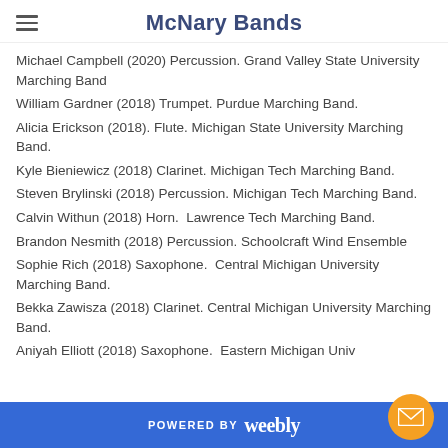McNary Bands
Michael Campbell (2020) Percussion. Grand Valley State University Marching Band
William Gardner (2018) Trumpet. Purdue Marching Band.
Alicia Erickson (2018). Flute. Michigan State University Marching Band.
Kyle Bieniewicz (2018) Clarinet. Michigan Tech Marching Band.
Steven Brylinski (2018) Percussion. Michigan Tech Marching Band.
Calvin Withun (2018) Horn.  Lawrence Tech Marching Band.
Brandon Nesmith (2018) Percussion. Schoolcraft Wind Ensemble
Sophie Rich (2018) Saxophone.  Central Michigan University Marching Band.
Bekka Zawisza (2018) Clarinet. Central Michigan University Marching Band.
Aniyah Elliott (2018) Saxophone.  Eastern Michigan Univ…
POWERED BY weebly